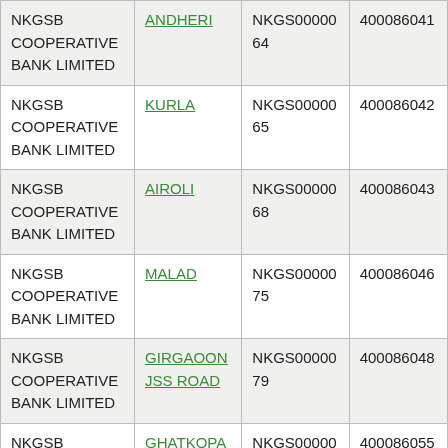| NKGSB COOPERATIVE BANK LIMITED | ANDHERI | NKGS0000064 | 400086041 |
| NKGSB COOPERATIVE BANK LIMITED | KURLA | NKGS0000065 | 400086042 |
| NKGSB COOPERATIVE BANK LIMITED | AIROLI | NKGS0000068 | 400086043 |
| NKGSB COOPERATIVE BANK LIMITED | MALAD | NKGS0000075 | 400086046 |
| NKGSB COOPERATIVE BANK LIMITED | GIRGAOON JSS ROAD | NKGS0000079 | 400086048 |
| NKGSB COOPERATIVE BANK LIMITED | GHATKOPAR | NKGS0000084 | 400086055 |